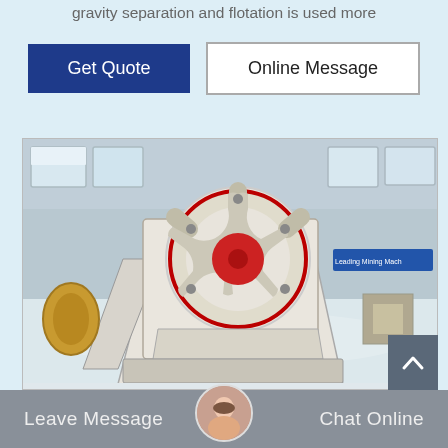gravity separation and flotation is used more
Get Quote
Online Message
[Figure (photo): Industrial jaw crusher / mining machinery photographed in a factory hall. The machine is white and cream colored with a large red circular flywheel/wheel cover featuring a red center hub. Chinese text banner visible in background reading something about leading mining machinery.]
Leave Message
Chat Online